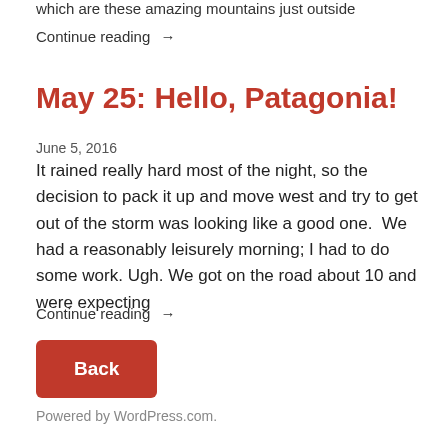which are these amazing mountains just outside
Continue reading →
May 25: Hello, Patagonia!
June 5, 2016
It rained really hard most of the night, so the decision to pack it up and move west and try to get out of the storm was looking like a good one.  We had a reasonably leisurely morning; I had to do some work. Ugh. We got on the road about 10 and were expecting
Continue reading →
[Figure (other): Red Back button]
Powered by WordPress.com.